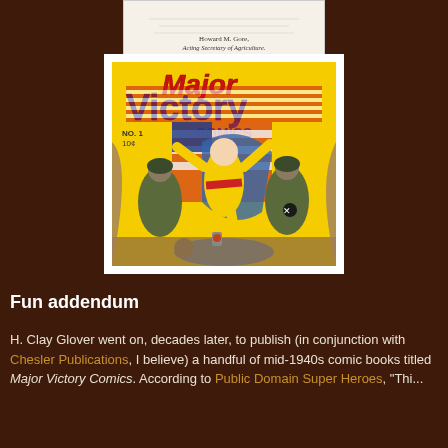[Figure (photo): Partial view of a document with text 'Howard M. Gore, Acting Secretary of Agriculture.']
[Figure (illustration): Cover of Major Victory Comics No. 1, 10 cents. Shows a superhero in yellow costume fighting enemies, with an American flag background.]
Fun addendum
H. Clay Glover went on, decades later, to publish (in conjunction with Chesler Publications, I believe) a handful of mid-1940s comic books titled Major Victory Comics. According to Public Domain Super Heroes, "Thi...